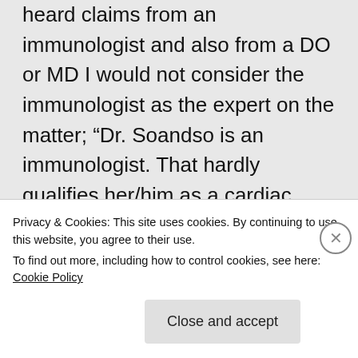heard claims from an immunologist and also from a DO or MD I would not consider the immunologist as the expert on the matter; “Dr. Soandso is an immunologist. That hardly qualifies her/him as a cardiac expert”.

Anyway, that’s how I read it.
★ Liked by 1 person
Privacy & Cookies: This site uses cookies. By continuing to use this website, you agree to their use.
To find out more, including how to control cookies, see here: Cookie Policy